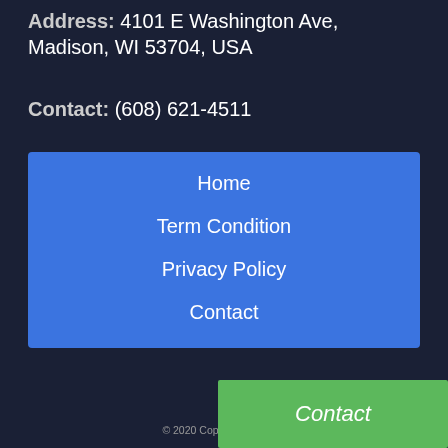Address: 4101 E Washington Ave, Madison, WI 53704, USA
Contact: (608) 621-4511
Home
Term Condition
Privacy Policy
Contact
The KarBoi Towing Service Madison WI Service is a free service that helps consumers connect with KarBoi Towing Service Madison WI Service. All KarBoi Towing Service Madison WI Service are independent and The KarBoi Towing Service Madison WI Service does not warrant or guarantee any breakage or damage after custumer recieved their auto. It is the responsibility of the consumer to verify that the shop they hire has the necessary license and insurance required for the car detailing being performed. We only represents confirmation of a business's service area and business category (e.g., KarBoi Towing Service Madison WI Service).
© 2020 Copyright: KarBoi Towing Service Madison WI Service
Contact